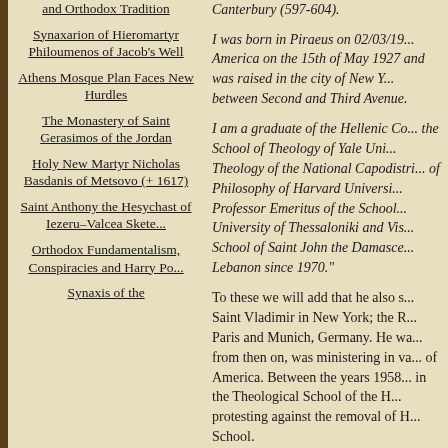and Orthodox Tradition
Synaxarion of Hieromartyr Philoumenos of Jacob's Well
Athens Mosque Plan Faces New Hurdles
The Monastery of Saint Gerasimos of the Jordan
Holy New Martyr Nicholas Basdanis of Metsovo (+ 1617)
Saint Anthony the Hesychast of Iezeru–Valcea Skete...
Orthodox Fundamentalism, Conspiracies and Harry Po...
Synaxis of the
Canterbury (597-604).
I was born in Piraeus on 02/03/19... America on the 15th of May 1927 and was raised in the city of New Y... between Second and Third Avenue.
I am a graduate of the Hellenic Co... the School of Theology of Yale Uni... Theology of the National Capodistri... of Philosophy of Harvard Universi... Professor Emeritus of the School... University of Thessaloniki and Vis... School of Saint John the Damasce... Lebanon since 1970."
To these we will add that he also s... Saint Vladimir in New York; the R... Paris and Munich, Germany. He wa... from then on, was ministering in va... of America. Between the years 1958... in the Theological School of the H... protesting against the removal of H... School.
His appointment to the Seat of Dogm... the University of Thessaloniki took...